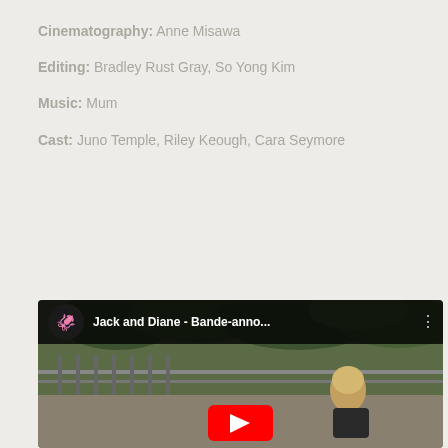Cinematography: Anne Misawa
Editing: Bradley Rust Gray, So Yong Kim
Music: Mum
Cast: Juno Temple, Riley Keough, Cara Seymore
[Figure (screenshot): YouTube video thumbnail for 'Jack and Diane - Bande-anno...' showing a young woman sitting outdoors near a railing with green foliage in background. Top bar shows channel logo and title with three-dot menu. Red YouTube play button visible at bottom.]